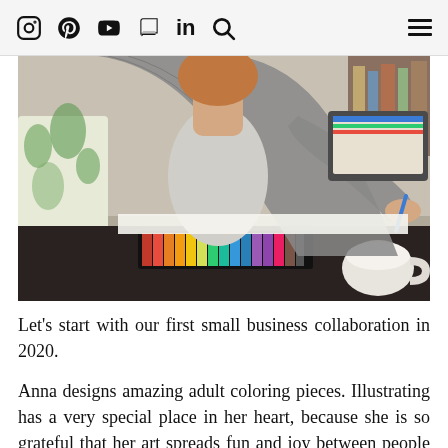Social media icons: Instagram, Pinterest, YouTube, Book/Blog, LinkedIn, Search, Menu
[Figure (photo): A person with curly reddish hair wearing a grey marled cardigan, drawing or writing on paper at a dark table. A set of colored pencils in a case and a white coffee cup are visible in the foreground. Decorative tropical-leaf pillows are in the background.]
Let's start with our first small business collaboration in 2020.
Anna designs amazing adult coloring pieces. Illustrating has a very special place in her heart, because she is so grateful that her art spreads fun and joy between people and around the globe.